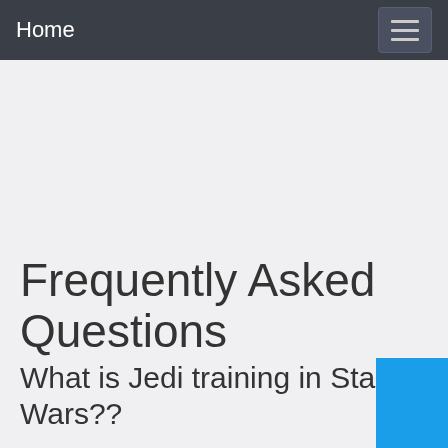Home
Frequently Asked Questions
What is Jedi training in Star Wars??
Force-sensitive beings were brought to the Jedi Temple on Coruscant, where they learned the ways of the Force and became members of the Jedi Order. Jedi training was the action of